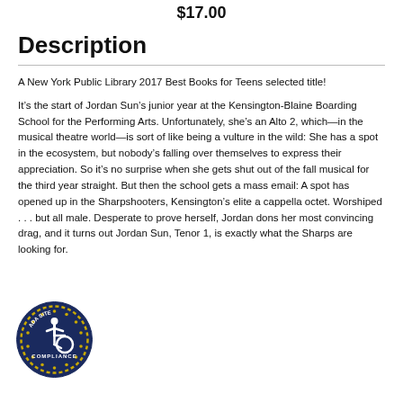$17.00
Description
A New York Public Library 2017 Best Books for Teens selected title!

It’s the start of Jordan Sun’s junior year at the Kensington-Blaine Boarding School for the Performing Arts. Unfortunately, she’s an Alto 2, which—in the musical theatre world—is sort of like being a vulture in the wild: She has a spot in the ecosystem, but nobody’s falling over themselves to express their appreciation. So it’s no surprise when she gets shut out of the fall musical for the third year straight. But then the school gets a mass email: A spot has opened up in the Sharpshooters, Kensington’s elite a cappella octet. Worshiped . . . but all male. Desperate to prove herself, Jordan dons her most convincing drag, and it turns out Jordan Sun, Tenor 1, is exactly what the Sharps are looking for.
[Figure (logo): ADA Site Compliance badge/seal with wheelchair accessibility icon]